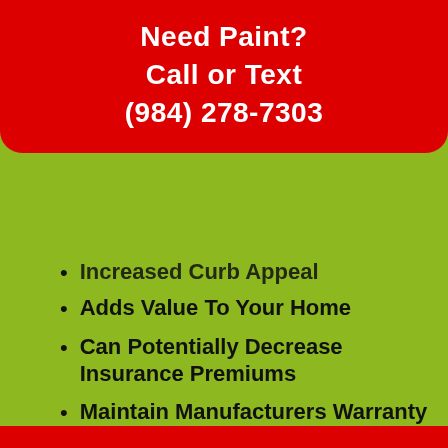Need Paint?
Call or Text
(984) 278-7303
Increased Curb Appeal
Adds Value To Your Home
Can Potentially Decrease Insurance Premiums
Maintain Manufacturers Warranty Standards
Attract Potential Home Buyers
Prevent More Extensive Damage